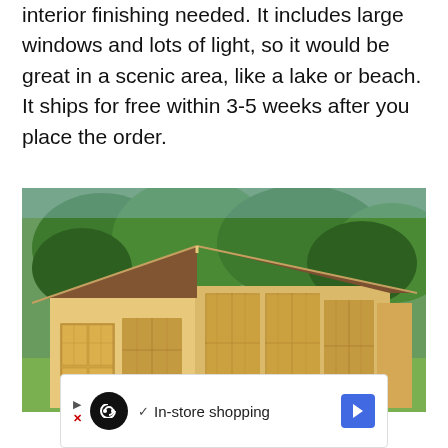interior finishing needed. It includes large windows and lots of light, so it would be great in a scenic area, like a lake or beach. It ships for free within 3-5 weeks after you place the order.
[Figure (photo): Photo of a small wooden cabin/garden shed with a dark shingled gabled roof, large multi-pane windows and French doors, set against a backdrop of green trees and grass.]
In-store shopping